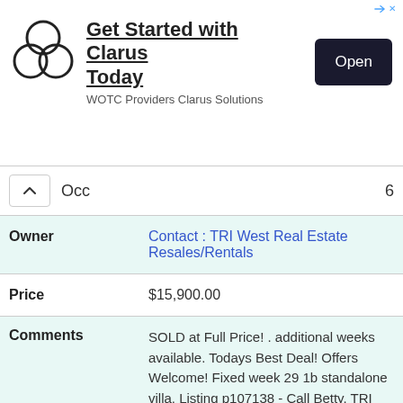[Figure (advertisement): Clarus ad banner with logo (three overlapping circles), headline 'Get Started with Clarus Today', subtext 'WOTC Providers Clarus Solutions', and an 'Open' button]
| Occ | 6 |
| Owner | Contact : TRI West Real Estate Resales/Rentals |
| Price | $15,900.00 |
| Comments | SOLD at Full Price! . additional weeks available. Todays Best Deal! Offers Welcome! Fixed week 29 1b standalone villa. Listing p107138 - Call Betty. TRI West Real Estate. ... |